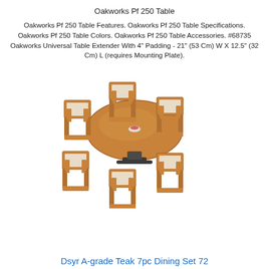Oakworks Pf 250 Table
Oakworks Pf 250 Table Features. Oakworks Pf 250 Table Specifications. Oakworks Pf 250 Table Colors. Oakworks Pf 250 Table Accessories. #68735 Oakworks Universal Table Extender With 4" Padding - 21" (53 Cm) W X 12.5" (32 Cm) L (requires Mounting Plate).
[Figure (photo): Photo of a round teak dining table with six armchairs arranged around it, table has a dark pedestal base and a light wood round top with a small decorative bowl in the center.]
Dsyr A-grade Teak 7pc Dining Set 72